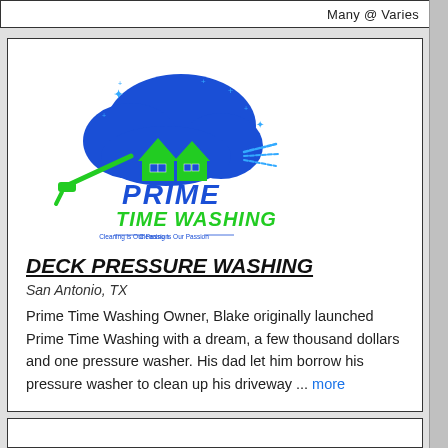Many @ Varies
[Figure (logo): Prime Time Washing logo with blue cloud, green houses, pressure washer, and blue/green text reading 'PRIME TIME WASHING - Cleaning is Our Passion']
DECK PRESSURE WASHING
San Antonio, TX
Prime Time Washing Owner, Blake originally launched Prime Time Washing with a dream, a few thousand dollars and one pressure washer. His dad let him borrow his pressure washer to clean up his driveway ... more
20 @ Varies